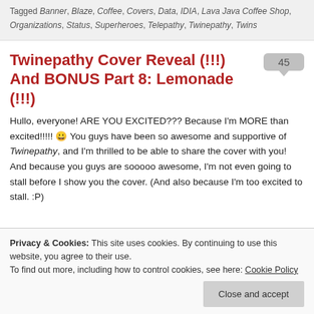Tagged Banner, Blaze, Coffee, Covers, Data, IDIA, Lava Java Coffee Shop, Organizations, Status, Superheroes, Telepathy, Twinepathy, Twins
Twinepathy Cover Reveal (!!!) And BONUS Part 8: Lemonade (!!!)
Hullo, everyone! ARE YOU EXCITED??? Because I'm MORE than excited!!!!! 😀 You guys have been so awesome and supportive of Twinepathy, and I'm thrilled to be able to share the cover with you! And because you guys are sooooo awesome, I'm not even going to stall before I show you the cover. (And also because I'm too excited to stall. :P)
Privacy & Cookies: This site uses cookies. By continuing to use this website, you agree to their use.
To find out more, including how to control cookies, see here: Cookie Policy